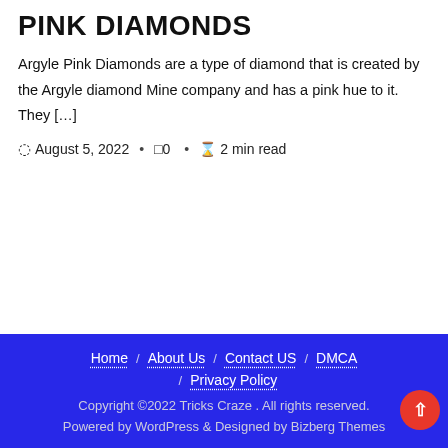PINK DIAMONDS
Argyle Pink Diamonds are a type of diamond that is created by the Argyle diamond Mine company and has a pink hue to it. They […]
August 5, 2022 · 0 · 2 min read
Home / About Us / Contact US / DMCA / Privacy Policy
Copyright ©2022 Tricks Craze . All rights reserved. Powered by WordPress & Designed by Bizberg Themes